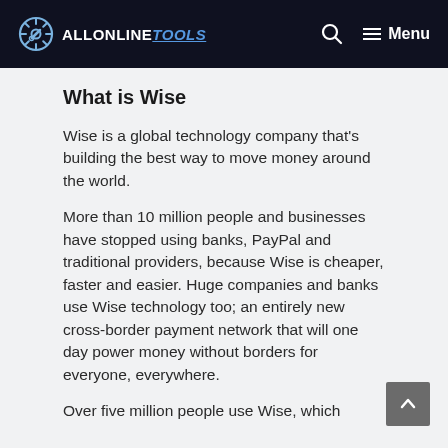ALLONLINETOOLS — Menu
What is Wise
Wise is a global technology company that's building the best way to move money around the world.
More than 10 million people and businesses have stopped using banks, PayPal and traditional providers, because Wise is cheaper, faster and easier. Huge companies and banks use Wise technology too; an entirely new cross-border payment network that will one day power money without borders for everyone, everywhere.
Over five million people use Wise, which